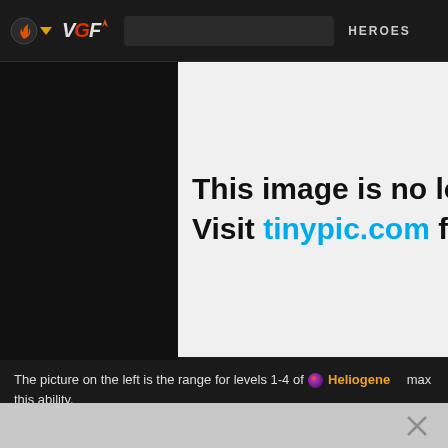VGF  HEROES
[Figure (screenshot): Tinypic image placeholder showing text: 'This image is no lon... Visit tinypic.com for m...' on white background]
The picture on the left is the range for levels 1-4 of 🔮 Heliogenesis... max this ability.
Place your 🔮 Heliogenesis in the brush to reveal hidden enemie...
[Figure (illustration): Sad yellow emoji/smiley face character with blue teary eyes and orange angry eyebrows, on white background, partially cropped]